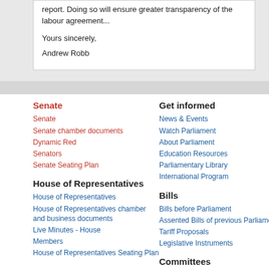report. Doing so will ensure greater transparency of the labour agreement...
Yours sincerely,
Andrew Robb
Senate
Senate
Senate chamber documents
Dynamic Red
Senators
Senate Seating Plan
Get informed
News & Events
Watch Parliament
About Parliament
Education Resources
Parliamentary Library
International Program
House of Representatives
House of Representatives
House of Representatives chamber and business documents
Live Minutes - House
Members
House of Representatives Seating Plan
Bills
Bills before Parliament
Assented Bills of previous Parliaments
Tariff Proposals
Legislative Instruments
Committees
Committees